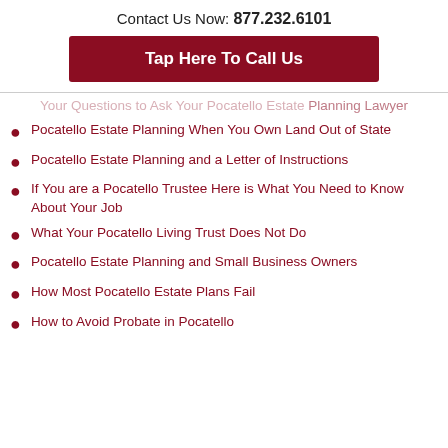Contact Us Now: 877.232.6101
Tap Here To Call Us
Your Questions to Ask Your Pocatello Estate Planning Lawyer
Pocatello Estate Planning When You Own Land Out of State
Pocatello Estate Planning and a Letter of Instructions
If You are a Pocatello Trustee Here is What You Need to Know About Your Job
What Your Pocatello Living Trust Does Not Do
Pocatello Estate Planning and Small Business Owners
How Most Pocatello Estate Plans Fail
How to Avoid Probate in Pocatello